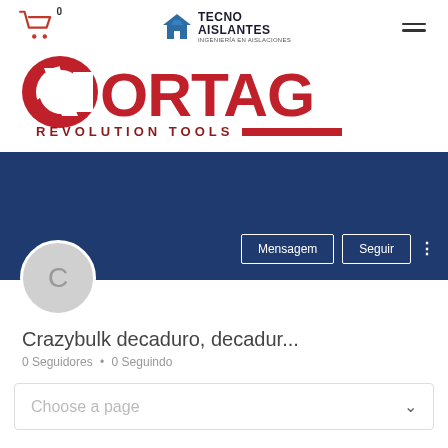[Figure (logo): Tecno Aislantes logo with cart icon and hamburger menu navigation bar]
[Figure (logo): Cortag Revolution Tools logo in red and dark red]
[Figure (screenshot): Social media profile card with dark blue background, circular avatar with letter C, Mensagem and Seguir buttons]
Crazybulk decaduro, decadur...
0 Seguidores • 0 Seguindo
Choose a page